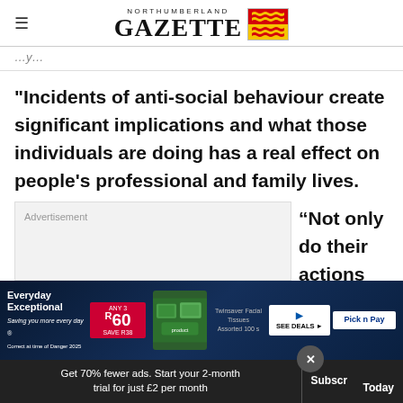NORTHUMBERLAND GAZETTE
"Incidents of anti-social behaviour create significant implications and what those individuals are doing has a real effect on people's professional and family lives.
[Figure (other): Advertisement placeholder box with label 'Advertisement']
“Not only do their actions
[Figure (other): Pick n Pay banner advertisement: Everyday Exceptional, ANY 3 R60 SAVE R38, Twinsaver Facial Tissues Assorted 100s, SEE DEALS, Pick n Pay logo]
Get 70% fewer ads. Start your 2-month trial for just £2 per month
Subscribe Today